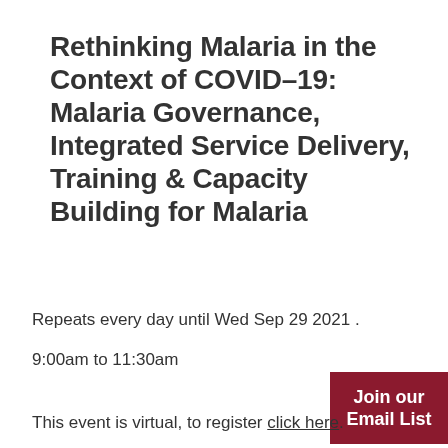Rethinking Malaria in the Context of COVID–19: Malaria Governance, Integrated Service Delivery, Training & Capacity Building for Malaria
Repeats every day until Wed Sep 29 2021 .
9:00am to 11:30am
Join our Email List
This event is virtual, to register click here.